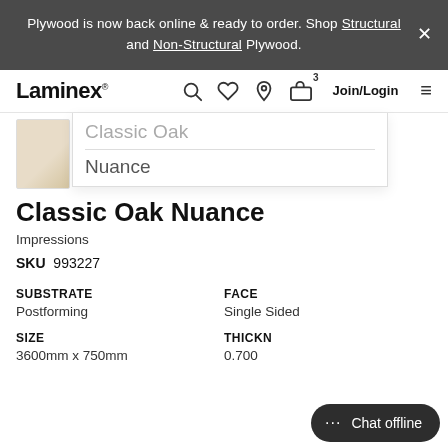Plywood is now back online & ready to order. Shop Structural and Non-Structural Plywood.
[Figure (screenshot): Laminex website navigation bar with logo, search, wishlist, locator, cart (3 items), Join/Login and hamburger menu icons]
[Figure (screenshot): Product thumbnail image of Classic Oak laminate swatch with dropdown showing 'Classic Oak' and 'Nuance' options]
Classic Oak Nuance
Impressions
SKU 993227
| SUBSTRATE | FACE |
| --- | --- |
| Postforming | Single Sided |
| SIZE | THICKNESS |
| 3600mm x 750mm | 0.700 |